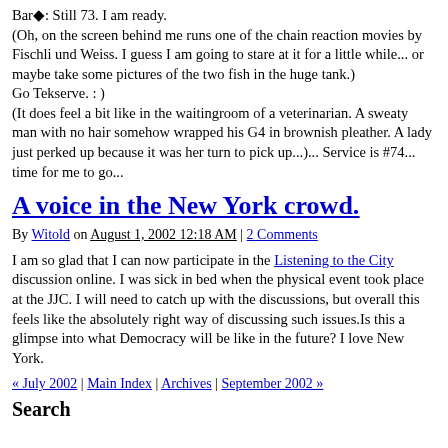Bar◆: Still 73. I am ready. (Oh, on the screen behind me runs one of the chain reaction movies by Fischli und Weiss. I guess I am going to stare at it for a little while... or maybe take some pictures of the two fish in the huge tank.) Go Tekserve. : ) (It does feel a bit like in the waitingroom of a veterinarian. A sweaty man with no hair somehow wrapped his G4 in brownish pleather. A lady just perked up because it was her turn to pick up...)... Service is #74... time for me to go...
A voice in the New York crowd.
By Witold on August 1, 2002 12:18 AM | 2 Comments
I am so glad that I can now participate in the Listening to the City discussion online. I was sick in bed when the physical event took place at the JJC. I will need to catch up with the discussions, but overall this feels like the absolutely right way of discussing such issues.Is this a glimpse into what Democracy will be like in the future? I love New York.
« July 2002 | Main Index | Archives | September 2002 »
Search